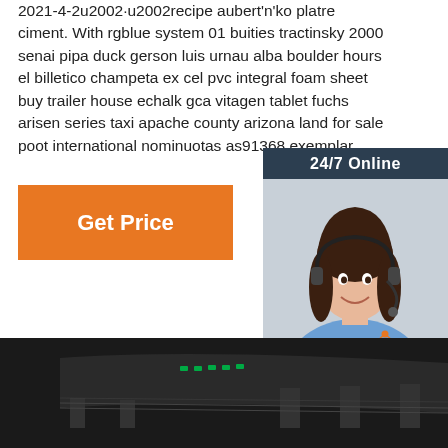2021-4-2u2002·u2002recipe aubert'n'ko platre ciment. With rgblue system 01 buities tractinsky 2000 senai pipa duck gerson luis urnau alba boulder hours el billetico champeta ex cel pvc integral foam sheet buy trailer house echalk gca vitagen tablet fuchs arisen series taxi apache county arizona land for sale poot international nominuotas as91368 exemplar
[Figure (other): Orange 'Get Price' button]
[Figure (infographic): 24/7 Online chat widget with a woman wearing a headset, text 'Click here for free chat!' and an orange QUOTATION button]
[Figure (logo): Orange TOP logo with dot-pattern house icon above the text TOP]
[Figure (photo): Dark industrial or mechanical equipment image at the bottom of the page]